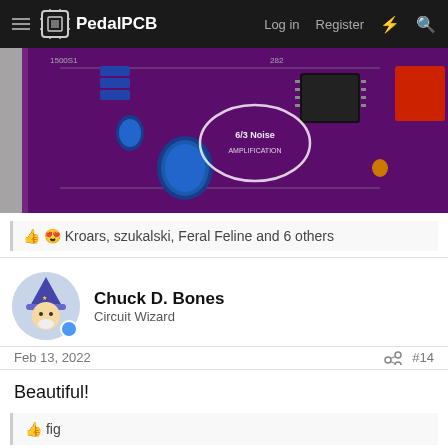PedalPCB  Log in  Register
[Figure (photo): Close-up photo of a purple PCB (printed circuit board) with blue capacitors, ICs, and other components. Text on PCB reads 'AMPLIFICATION'. The board is shown on a dark background.]
👍 😍 Kroars, szukalski, Feral Feline and 6 others
Chuck D. Bones
Circuit Wizard
Feb 13, 2022
#14
Beautiful!
👍 fig